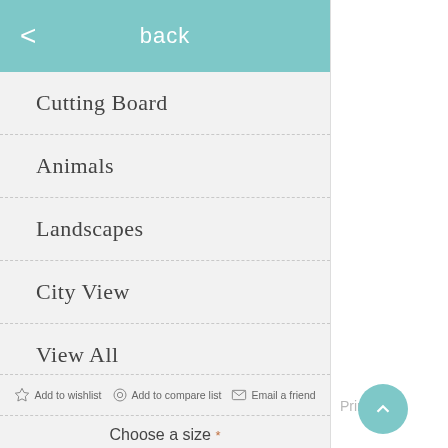< back
Cutting Board
Animals
Landscapes
City View
View All
Prints
Add to wishlist   Add to compare list   Email a friend
Choose a size *